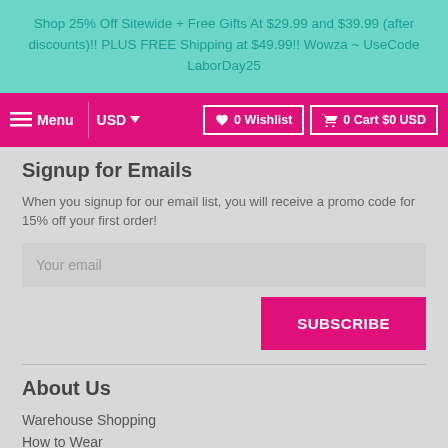Shop 25% Off Sitewide + Free Gifts At $29.99 and $39.99 (after discounts)!! PLUS FREE Shipping at $49.99!! Wowza ~ UseCode LaborDay25
Menu  USD  0 Wishlist  0 Cart $0 USD
Signup for Emails
When you signup for our email list, you will receive a promo code for 15% off your first order!
Your email
SUBSCRIBE
About Us
Warehouse Shopping
How to Wear
FAQs
Shipping & Returns